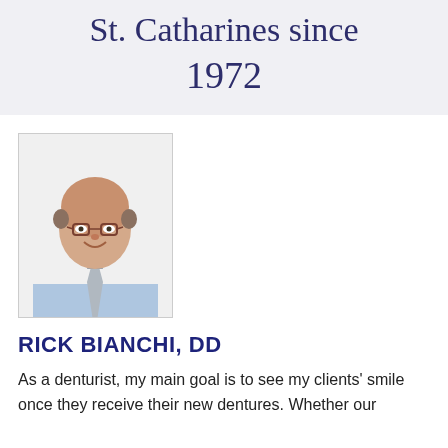St. Catharines since 1972
[Figure (photo): Professional headshot of Rick Bianchi, DD — a bald man wearing glasses, a light blue dress shirt, and a patterned tie, smiling at the camera]
RICK BIANCHI, DD
As a denturist, my main goal is to see my clients' smile once they receive their new dentures. Whether our